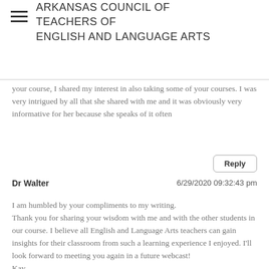ARKANSAS COUNCIL OF TEACHERS OF ENGLISH AND LANGUAGE ARTS
your course, I shared my interest in also taking some of your courses. I was very intrigued by all that she shared with me and it was obviously very informative for her because she speaks of it often
Reply
Dr Walter   6/29/2020 09:32:43 pm
I am humbled by your compliments to my writing.
Thank you for sharing your wisdom with me and with the other students in our course. I believe all English and Language Arts teachers can gain insights for their classroom from such a learning experience I enjoyed. I'll look forward to meeting you again in a future webcast!
Kay